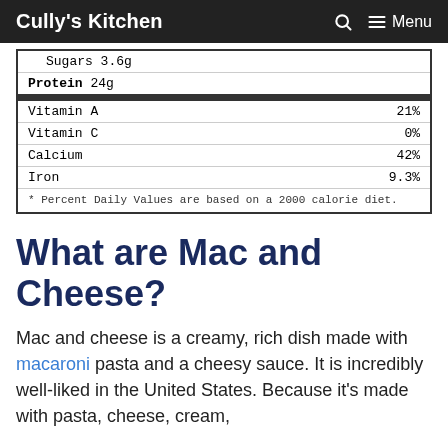Cully's Kitchen   🔍   ☰ Menu
| Sugars 3.6g |  |
| Protein 24g |  |
| Vitamin A | 21% |
| Vitamin C | 0% |
| Calcium | 42% |
| Iron | 9.3% |
| * Percent Daily Values are based on a 2000 calorie diet. |  |
What are Mac and Cheese?
Mac and cheese is a creamy, rich dish made with macaroni pasta and a cheesy sauce. It is incredibly well-liked in the United States. Because it's made with pasta, cheese, cream,